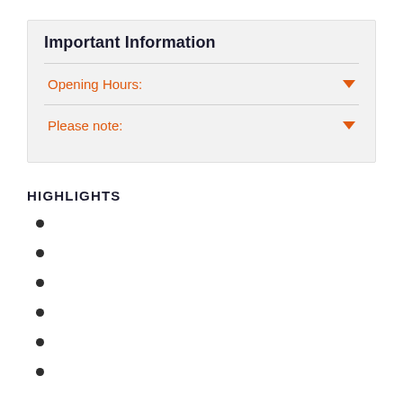Important Information
Opening Hours:
Please note:
HIGHLIGHTS